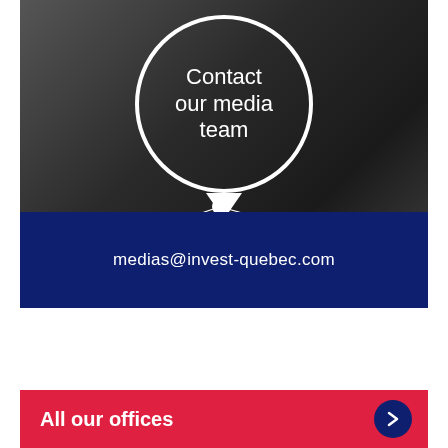[Figure (photo): Black and white photo of a person's hand/finger pointing at a circular speech bubble that reads 'Contact our media team', with white circuit board lines extending from the bubble]
medias@invest-quebec.com
All our offices